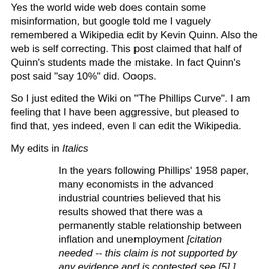Yes the world wide web does contain some misinformation, but google told me I vaguely remembered a Wikipedia edit by Kevin Quinn. Also the web is self correcting. This post claimed that half of Quinn's students made the mistake. In fact Quinn's post said "say 10%" did. Ooops.
So I just edited the Wiki on "The Phillips Curve". I am feeling that I have been aggressive, but pleased to find that, yes indeed, even I can edit the Wikipedia.
My edits in Italics
In the years following Phillips' 1958 paper, many economists in the advanced industrial countries believed that his results showed that there was a permanently stable relationship between inflation and unemployment [citation needed -- this claim is not supported by any evidence and is contested see [5] ].
5. http://www.economics.ox.ac.uk/Department-of-Economics-Discussion-Paper-Series/economists-on-samuelson-and-solow-on-the-phillips-curve Note that a claim